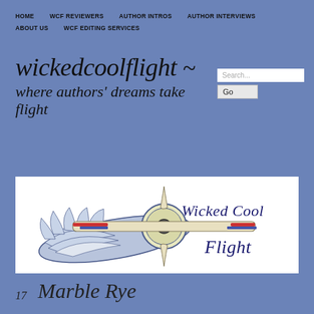HOME   WCF REVIEWERS   AUTHOR INTROS   AUTHOR INTERVIEWS   ABOUT US   WCF EDITING SERVICES
wickedcoolflight ~ where authors' dreams take flight
[Figure (logo): Wicked Cool Flight logo: a winged propeller with 'Wicked Cool Flight' in cursive script, white background]
17   Marble Rye